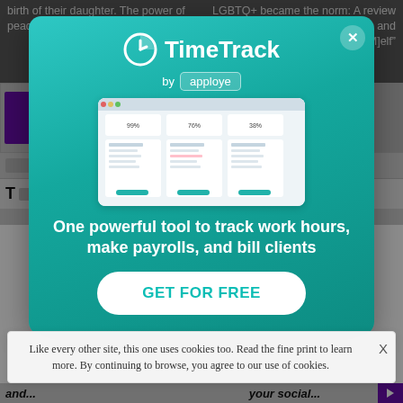birth of their daughter. The power of peace in a perilous world
LGBTQ+ became the norm: A review of Carl Trueman's "The Rise and Triumph of the [M]elf"
[Figure (screenshot): TimeTrack by apploye modal popup advertisement over a website background. Shows a clock icon, 'TimeTrack' branding, 'by apploye' subtitle, a screenshot of the TimeTrack dashboard interface, tagline 'One powerful tool to track work hours, make payrolls, and bill clients', and a 'GET FOR FREE' call-to-action button. A close (X) button appears in the top-right corner of the modal.]
Like every other site, this one uses cookies too. Read the fine print to learn more. By continuing to browse, you agree to our use of cookies.
and...
your social...